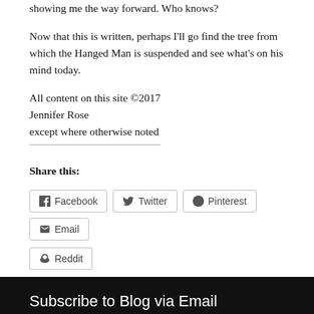showing me the way forward. Who knows?
Now that this is written, perhaps I'll go find the tree from which the Hanged Man is suspended and see what's on his mind today.
All content on this site ©2017
Jennifer Rose
except where otherwise noted
Share this:
Facebook  Twitter  Pinterest  Email  Reddit
Subscribe to Blog via Email
Enter your email address to subscribe to this blog and receive notifications of new posts by email.